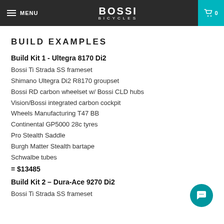MENU | BOSSI BICYCLES | 0
BUILD EXAMPLES
Build Kit 1 - Ultegra 8170 Di2
Bossi Ti Strada SS frameset
Shimano Ultegra Di2 R8170 groupset
Bossi RD carbon wheelset w/ Bossi CLD hubs
Vision/Bossi integrated carbon cockpit
Wheels Manufacturing T47 BB
Continental GP5000 28c tyres
Pro Stealth Saddle
Burgh Matter Stealth bartape
Schwalbe tubes
= $13485
Build Kit 2 – Dura-Ace 9270 Di2
Bossi Ti Strada SS frameset